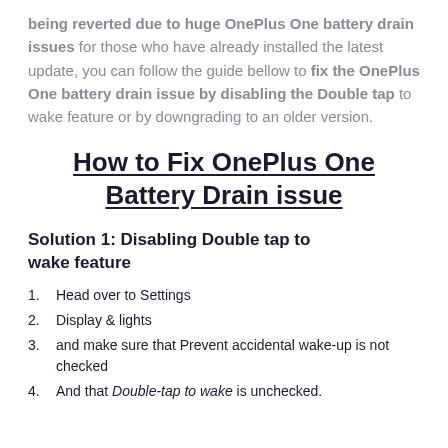being reverted due to huge OnePlus One battery drain issues for those who have already installed the latest update, you can follow the guide bellow to fix the OnePlus One battery drain issue by disabling the Double tap to wake feature or by downgrading to an older version.
How to Fix OnePlus One Battery Drain issue
Solution 1: Disabling Double tap to wake feature
Head over to Settings
Display & lights
and make sure that Prevent accidental wake-up is not checked
And that Double-tap to wake is unchecked.